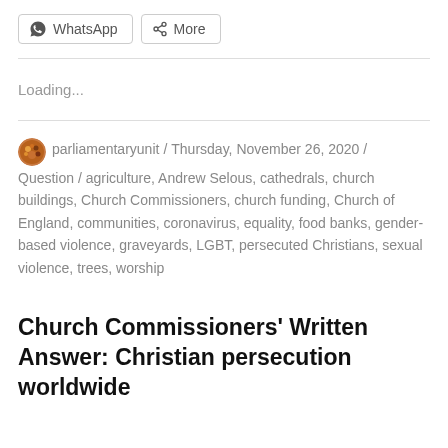[Figure (other): Share buttons: WhatsApp and More]
Loading...
parliamentaryunit / Thursday, November 26, 2020 / Question / agriculture, Andrew Selous, cathedrals, church buildings, Church Commissioners, church funding, Church of England, communities, coronavirus, equality, food banks, gender-based violence, graveyards, LGBT, persecuted Christians, sexual violence, trees, worship
Church Commissioners' Written Answer: Christian persecution worldwide